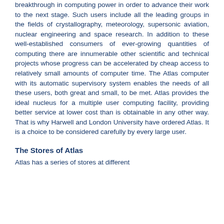breakthrough in computing power in order to advance their work to the next stage. Such users include all the leading groups in the fields of crystallography, meteorology, supersonic aviation, nuclear engineering and space research. In addition to these well-established consumers of ever-growing quantities of computing there are innumerable other scientific and technical projects whose progress can be accelerated by cheap access to relatively small amounts of computer time. The Atlas computer with its automatic supervisory system enables the needs of all these users, both great and small, to be met. Atlas provides the ideal nucleus for a multiple user computing facility, providing better service at lower cost than is obtainable in any other way. That is why Harwell and London University have ordered Atlas. It is a choice to be considered carefully by every large user.
The Stores of Atlas
Atlas has a series of stores at different